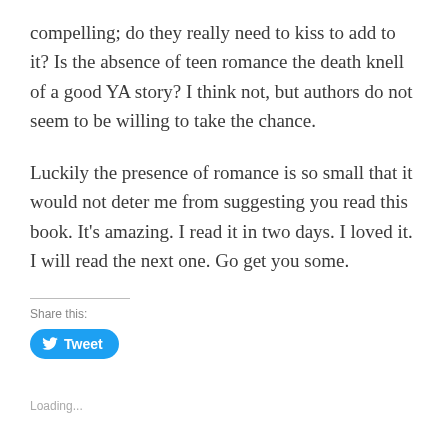compelling; do they really need to kiss to add to it? Is the absence of teen romance the death knell of a good YA story? I think not, but authors do not seem to be willing to take the chance.
Luckily the presence of romance is so small that it would not deter me from suggesting you read this book. It's amazing. I read it in two days. I loved it. I will read the next one. Go get you some.
Share this:
[Figure (other): Twitter Tweet button — a blue rounded pill button with a bird icon and the text 'Tweet']
Loading...